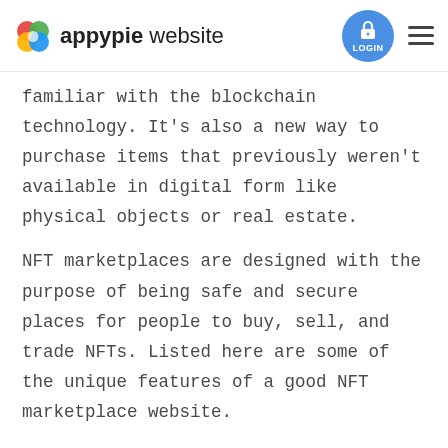appypie website
familiar with the blockchain technology. It's also a new way to purchase items that previously weren't available in digital form like physical objects or real estate.
NFT marketplaces are designed with the purpose of being safe and secure places for people to buy, sell, and trade NFTs. Listed here are some of the unique features of a good NFT marketplace website.
Easy to Use
The NFT marketplace should be intuitive and easy to use for both, new and experienced users. The